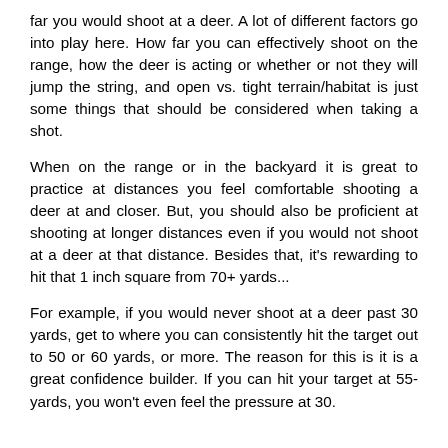far you would shoot at a deer. A lot of different factors go into play here. How far you can effectively shoot on the range, how the deer is acting or whether or not they will jump the string, and open vs. tight terrain/habitat is just some things that should be considered when taking a shot.
When on the range or in the backyard it is great to practice at distances you feel comfortable shooting a deer at and closer. But, you should also be proficient at shooting at longer distances even if you would not shoot at a deer at that distance. Besides that, it's rewarding to hit that 1 inch square from 70+ yards...
For example, if you would never shoot at a deer past 30 yards, get to where you can consistently hit the target out to 50 or 60 yards, or more. The reason for this is it is a great confidence builder. If you can hit your target at 55-yards, you won't even feel the pressure at 30.